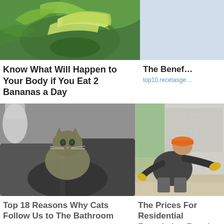[Figure (photo): Green bananas hanging on a banana tree with large green leaves]
Know What Will Happen to Your Body if You Eat 2 Bananas a Day
Bananas
[Figure (photo): Light blue/white placeholder image partially visible on the right side]
The Benef…
top10.recetasge…
[Figure (photo): A tabby cat sitting inside a jacket or bag on someone's lap in a bathroom]
Top 18 Reasons Why Cats Follow Us to The Bathroom
Geas.best
[Figure (photo): A construction worker wearing an orange hard hat and yellow gloves working on a building foundation wall]
The Prices For Residential Foundation Repair In Ashburn Might Surprise Y…